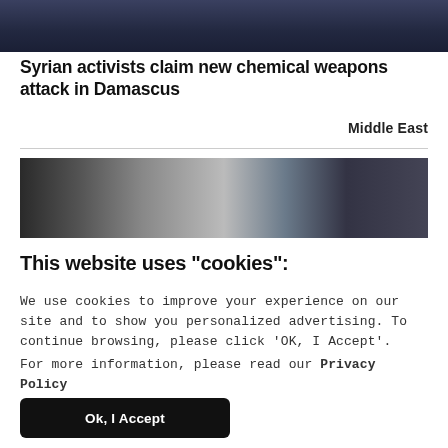[Figure (photo): Cropped photo at top, partially visible, dark tones]
Syrian activists claim new chemical weapons attack in Damascus
Middle East
[Figure (photo): Aerial or wide shot of damaged buildings, muted tones]
This website uses "cookies":
We use cookies to improve your experience on our site and to show you personalized advertising. To continue browsing, please click ‘OK, I Accept’.
For more information, please read our Privacy Policy
Ok, I Accept